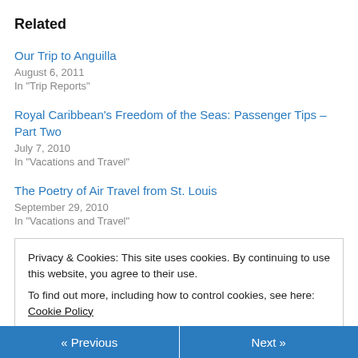Related
Our Trip to Anguilla
August 6, 2011
In "Trip Reports"
Royal Caribbean's Freedom of the Seas: Passenger Tips – Part Two
July 7, 2010
In "Vacations and Travel"
The Poetry of Air Travel from St. Louis
September 29, 2010
In "Vacations and Travel"
Privacy & Cookies: This site uses cookies. By continuing to use this website, you agree to their use.
To find out more, including how to control cookies, see here: Cookie Policy
« Previous   Next »